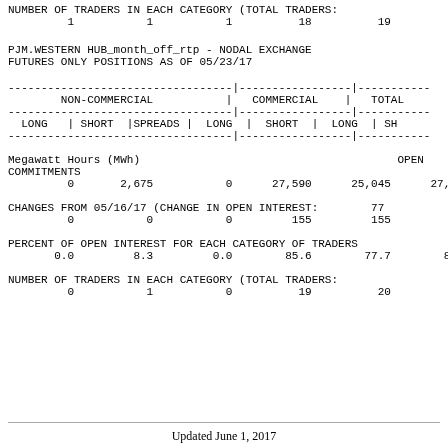NUMBER OF TRADERS IN EACH CATEGORY (TOTAL TRADERS:
        1           1           1          18          19          20
PJM.WESTERN HUB_month_off_rtp - NODAL EXCHANGE
FUTURES ONLY POSITIONS AS OF 05/23/17
| NON-COMMERCIAL LONG | NON-COMMERCIAL SHORT | SPREADS | COMMERCIAL LONG | COMMERCIAL SHORT | TOTAL LONG | TOTAL SHORT |
| --- | --- | --- | --- | --- | --- | --- |
| 0 | 2,675 | 0 | 27,590 | 25,045 | 27,590 | 2... |
| 0 | 0 | 0 | 155 | 155 | 155 |  |
| 0.0 | 8.3 | 0.0 | 85.6 | 77.7 | 85.6 |  |
| 0 | 1 | 0 | 19 | 20 | 19 |  |
Updated June 1, 2017